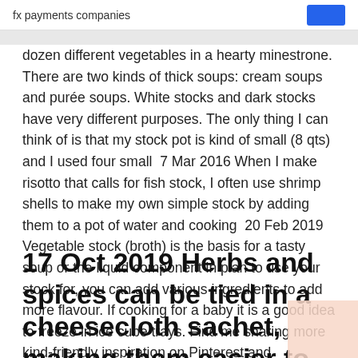fx payments companies
dozen different vegetables in a hearty minestrone. There are two kinds of thick soups: cream soups and purée soups. White stocks and dark stocks have very different purposes. The only thing I can think of is that my stock pot is kind of small (8 qts) and I used four small  7 Mar 2016 When I make risotto that calls for fish stock, I often use shrimp shells to make my own simple stock by adding them to a pot of water and cooking  20 Feb 2019 Vegetable stock (broth) is the basis for a tasty soup or the liquid component in plan to use your stock for, you can add various ingredients to add more flavour. If cooking for a baby it is a good idea to freeze in ice cube trays. Find me sharing more kind-friendly inspiration on Pinterest and Instagram.
17 Oct 2019 Herbs and spices can be tied in a cheesecloth sachet, making them easier to retrieve after cooking, or they